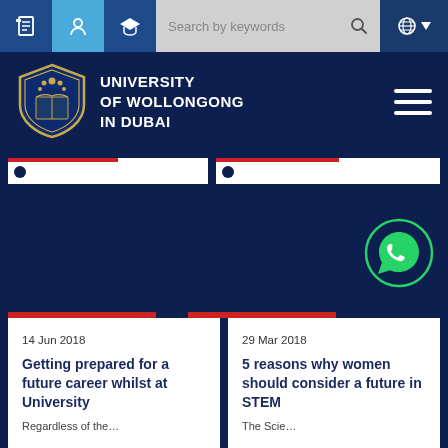University of Wollongong in Dubai website header with search bar and navigation
[Figure (logo): University of Wollongong in Dubai shield logo with open book and floral motif]
UNIVERSITY OF WOLLONGONG IN DUBAI
14 Jun 2018
Getting prepared for a future career whilst at University
Regardless of the…
29 Mar 2018
5 reasons why women should consider a future in STEM
The Science…